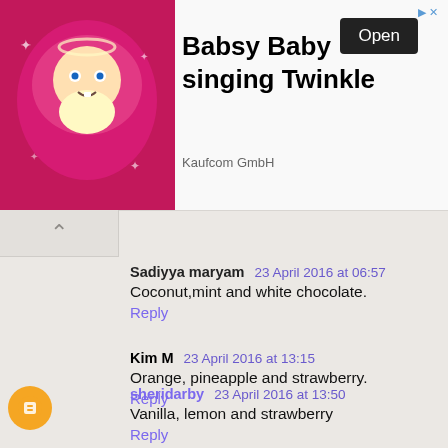[Figure (screenshot): Ad banner for Babsy Baby singing Twinkle by Kaufcom GmbH with animated baby character on pink background and Open button]
Sadiyya maryam 23 April 2016 at 06:57
Coconut,mint and white chocolate.
Reply
Kim M 23 April 2016 at 13:15
Orange, pineapple and strawberry.
Reply
sheridarby 23 April 2016 at 13:50
Vanilla, lemon and strawberry
Reply